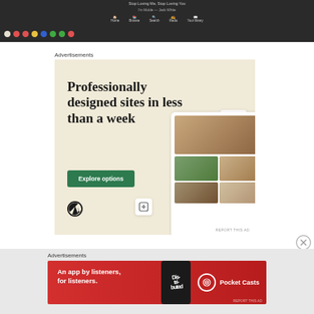[Figure (screenshot): Screenshot of a browser/app with dark navigation bar showing Spotify-like interface with 'Stop Loving Me, Stop Loving You' track title and navigation icons]
Advertisements
[Figure (screenshot): WordPress advertisement: 'Professionally designed sites in less than a week' with green 'Explore options' button and WordPress logo, showing website mockups on the right side]
Advertisements
[Figure (screenshot): Pocket Casts advertisement: 'An app by listeners, for listeners.' with Pocket Casts logo on red background with phone image showing 'Distributed' text]